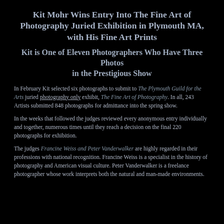Kit Mohr Wins Entry Into The Fine Art of Photography Juried Exhibition in Plymouth MA, with His Fine Art Prints
Kit is One of Eleven Photographers Who Have Three Photos in the Prestigious Show
In February Kit selected six photographs to submit to The Plymouth Guild for the Arts juried photography only exhibit, The Fine Art of Photography. In all, 243 Artists submitted 848 photographs for admittance into the spring show.
In the weeks that followed the judges reviewed every anonymous entry individually and together, numerous times until they reach a decision on the final 220 photographs for exhibition.
The judges Francine Weiss and Peter Vanderwalker are highly regarded in their professions with national recognition. Francine Weiss is a specialist in the history of photography and American visual culture. Peter Vanderwalker is a freelance photographer whose work interprets both the natural and man-made environments.